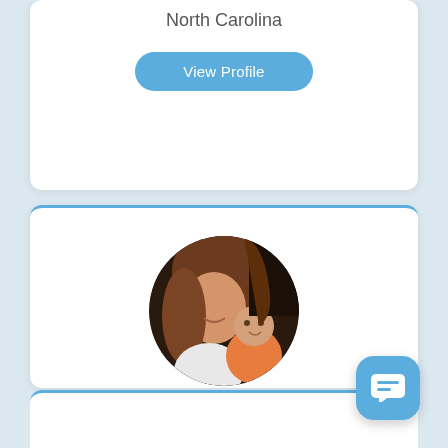North Carolina
View Profile
[Figure (photo): Circular profile photo of a woman with long hair smiling and holding a baby in an orange outfit]
Britni
Virginia
View Profile
[Figure (other): Blue rounded square chat/message button icon in lower right corner]